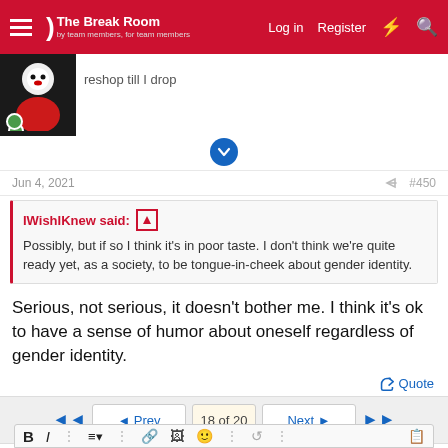The Break Room — by team members, for team members | Log in | Register
[Figure (screenshot): User avatar showing a person in a mascot/character costume with a red outfit and white face, with a green online indicator dot]
reshop till I drop
Jun 4, 2021   #450
IWishIKnew said:
Possibly, but if so I think it's in poor taste. I don't think we're quite ready yet, as a society, to be tongue-in-cheek about gender identity.
Serious, not serious, it doesn't bother me. I think it's ok to have a sense of humor about oneself regardless of gender identity.
Quote
◄◄  ◄ Prev   18 of 20   Next ►  ►►
B I ⋮ ≡▾ ⋮ 🔗 🖼 🙂 ⋮ ↺ ⋮ 📋